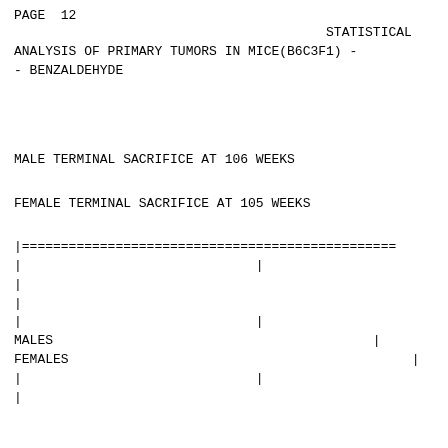PAGE  12
STATISTICAL ANALYSIS OF PRIMARY TUMORS IN MICE(B6C3F1) -- BENZALDEHYDE
MALE TERMINAL SACRIFICE AT 106 WEEKS
FEMALE TERMINAL SACRIFICE AT 105 WEEKS
| |================================================ |
| |                              | |
| | |
| | |
| |                              | |
| MALES                                         | |
| FEMALES                                            | |
| |                              | |
| | |